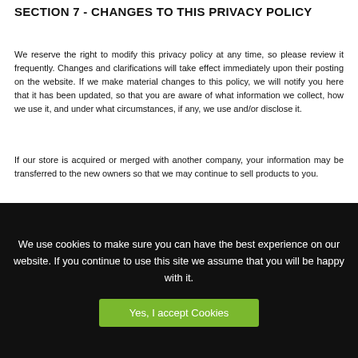SECTION 7 - CHANGES TO THIS PRIVACY POLICY
We reserve the right to modify this privacy policy at any time, so please review it frequently. Changes and clarifications will take effect immediately upon their posting on the website. If we make material changes to this policy, we will notify you here that it has been updated, so that you are aware of what information we collect, how we use it, and under what circumstances, if any, we use and/or disclose it.
If our store is acquired or merged with another company, your information may be transferred to the new owners so that we may continue to sell products to you.
[Figure (other): Gray rectangle placeholder image below a horizontal divider line]
We use cookies to make sure you can have the best experience on our website. If you continue to use this site we assume that you will be happy with it.
Yes, I accept Cookies